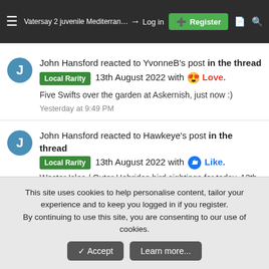Vatersay 2 juvenile Mediterranean Gulls among the Common Gulls at Traigh Bhialais appear to be interested in... | Log in | Register
John Hansford reacted to YvonneB's post in the thread Local Rarity 13th August 2022 with Love. Five Swifts over the garden at Askernish, just now :) Yesterday at 9:49 PM
John Hansford reacted to Hawkeye's post in the thread Local Rarity 13th August 2022 with Like. Wester Isles / Outer Hebrides bird sightings for today, 13th August 2022. Updated throughout the day Tiumpan Head, Lewis A Leach's... Yesterday at 9:49 PM
This site uses cookies to help personalise content, tailor your experience and to keep you logged in if you register. By continuing to use this site, you are consenting to our use of cookies. Accept Learn more...